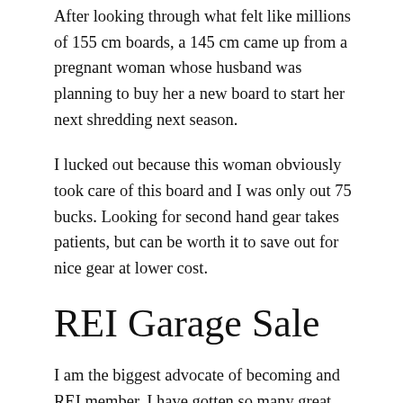After looking through what felt like millions of 155 cm boards, a 145 cm came up from a pregnant woman whose husband was planning to buy her a new board to start her next shredding next season.
I lucked out because this woman obviously took care of this board and I was only out 75 bucks. Looking for second hand gear takes patients, but can be worth it to save out for nice gear at lower cost.
REI Garage Sale
I am the biggest advocate of becoming and REI member. I have gotten so many great, cheap pieces of gear for backpacking and snowboarding because someone had the nerve to take advantage of REI's return policy. I am talking 40-60% off things like my jet boil, Nemo Hornet Elite 2 Tent, and now my Burton snowboarding boots with